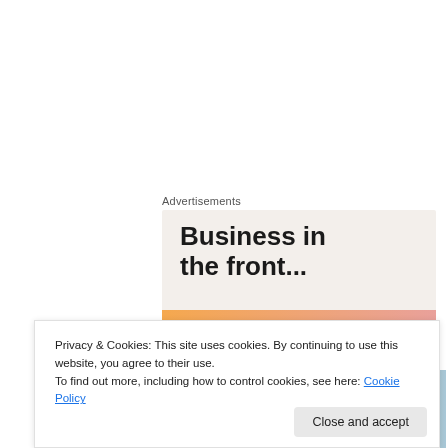Advertisements
[Figure (illustration): WordPress advertisement banner with 'Business in the front...' text on light beige background and WordPress wordmark on orange-to-pink gradient strip]
[Figure (photo): Partial photo of a person, cropped, showing hair and outdoor scene]
Privacy & Cookies: This site uses cookies. By continuing to use this website, you agree to their use.
To find out more, including how to control cookies, see here: Cookie Policy
Close and accept